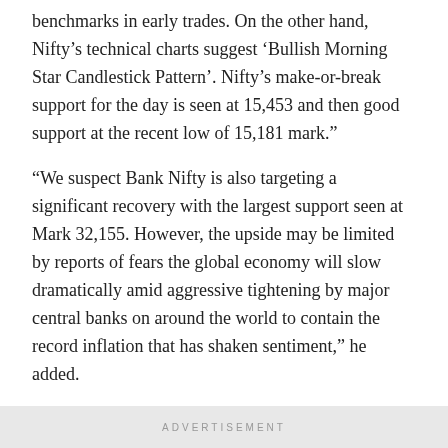benchmarks in early trades. On the other hand, Nifty’s technical charts suggest ‘Bullish Morning Star Candlestick Pattern’. Nifty’s make-or-break support for the day is seen at 15,453 and then good support at the recent low of 15,181 mark.”
“We suspect Bank Nifty is also targeting a significant recovery with the largest support seen at Mark 32,155. However, the upside may be limited by reports of fears the global economy will slow dramatically amid aggressive tightening by major central banks on around the world to contain the record inflation that has shaken sentiment,” he added.
Get all the latest news, breaking news, watch top videos and live TV here.
ADVERTISEMENT